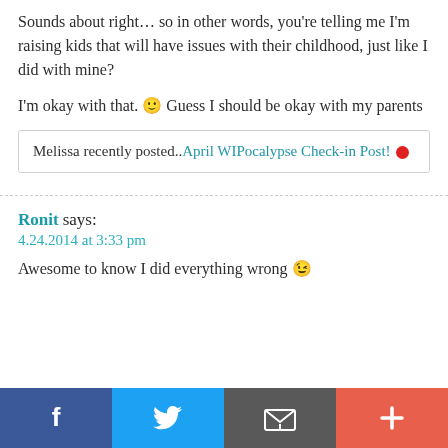Sounds about right… so in other words, you're telling me I'm raising kids that will have issues with their childhood, just like I did with mine?
I'm okay with that. 🙂 Guess I should be okay with my parents
Melissa recently posted..April WIPocalypse Check-in Post! 🔴
Ronit says:
4.24.2014 at 3:33 pm
Awesome to know I did everything wrong 😉
f [Facebook] | [Twitter] | [Email] | +